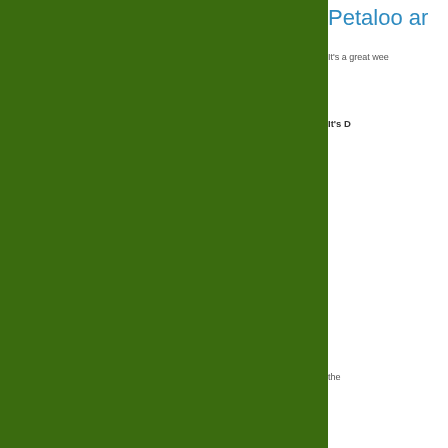[Figure (photo): Large green background image occupying the left portion of the page]
Petaloo ar
It's a great wee
It's D
the